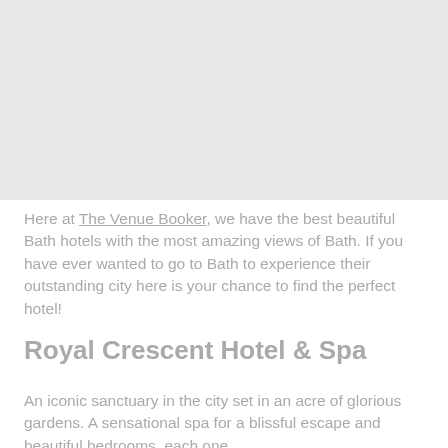[Figure (photo): Large hotel or venue photograph placeholder area at top of page]
Here at The Venue Booker, we have the best beautiful Bath hotels with the most amazing views of Bath. If you have ever wanted to go to Bath to experience their outstanding city here is your chance to find the perfect hotel!
Royal Crescent Hotel & Spa
An iconic sanctuary in the city set in an acre of glorious gardens. A sensational spa for a blissful escape and beautiful bedrooms, each one